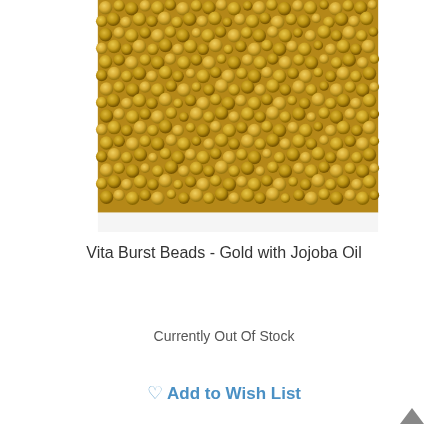[Figure (photo): Close-up photograph of small golden/yellow Vita Burst Beads with Jojoba Oil, densely packed together filling the frame.]
Vita Burst Beads - Gold with Jojoba Oil
Currently Out Of Stock
Add to Wish List